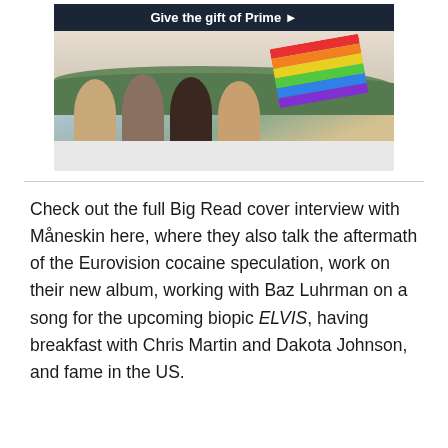[Figure (photo): Amazon Prime advertisement banner with dark navy header reading 'Give the gift of Prime ▶' and a photo of four joyful young people riding in a convertible car waving a rainbow flag, with hills and sky in the background.]
Check out the full Big Read cover interview with Måneskin here, where they also talk the aftermath of the Eurovision cocaine speculation, work on their new album, working with Baz Luhrman on a song for the upcoming biopic ELVIS, having breakfast with Chris Martin and Dakota Johnson, and fame in the US.